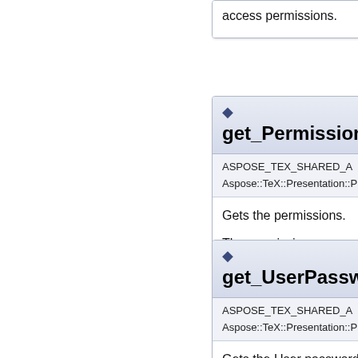access permissions.
get_Permissions()
ASPOSE_TEX_SHARED_A
Aspose::TeX::Presentation::P
Gets the permissions.
The permissions.
get_UserPassword
ASPOSE_TEX_SHARED_A
Aspose::TeX::Presentation::P
Gets the User password.